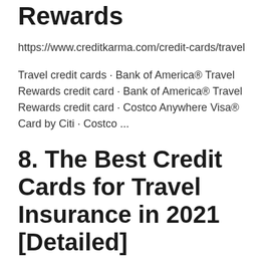Rewards
https://www.creditkarma.com/credit-cards/travel
Travel credit cards · Bank of America® Travel Rewards credit card · Bank of America® Travel Rewards credit card · Costco Anywhere Visa® Card by Citi · Costco ...
8. The Best Credit Cards for Travel Insurance in 2021 [Detailed]
https://upgradedpoints.com/credit-cards/best-credit-cards-for-travel-insurance/
3 days ago — Chase is a major credit card